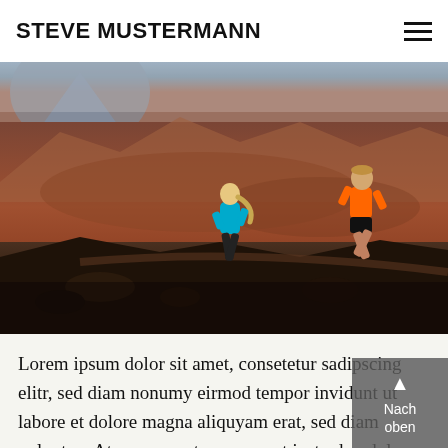STEVE MUSTERMANN
[Figure (photo): Two trail runners (a woman in cyan/blue jacket and black tights, and a man in orange jacket and black shorts) running on a rocky volcanic mountain trail with dramatic brown/red volcanic landscape in the background.]
Lorem ipsum dolor sit amet, consetetur sadipscing elitr, sed diam nonumy eirmod tempor invidunt ut labore et dolore magna aliquyam erat, sed diam voluptua. At vero eos et accusam et justo duo dolores et ea rebum. Stet